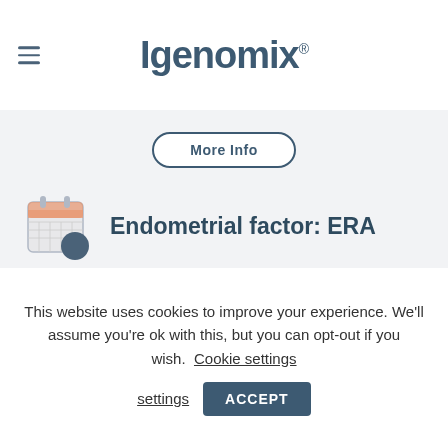Igenomix®
More Info
Endometrial factor: ERA
ERA test analyzes the woman's endometrium, where the embryo is to implant.
Only an endometrium in a receptive stage will allow
This website uses cookies to improve your experience. We'll assume you're ok with this, but you can opt-out if you wish. Cookie settings ACCEPT